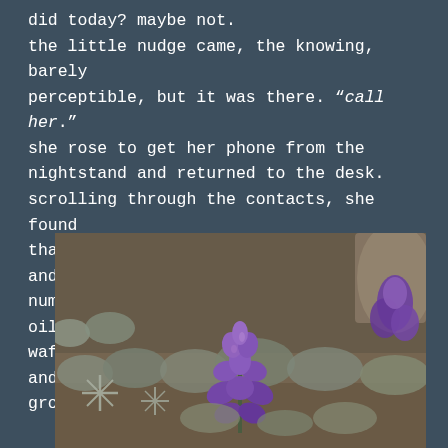did today? maybe not.
the little nudge came, the knowing, barely perceptible, but it was there. “call her.” she rose to get her phone from the nightstand and returned to the desk. scrolling through the contacts, she found that she still had her friend’s name and number. the scent of lavender essential oil wafted through the air. it was soothing and grounding as she called the number.
[Figure (photo): Close-up photograph of a purple lupine flower in bloom among low-growing silvery desert plants and foliage, with rocky ground visible in the background.]